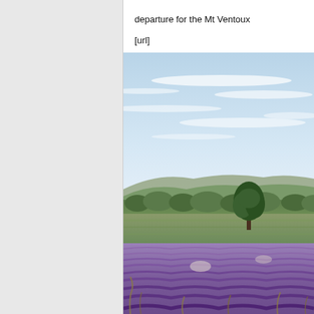departure for the Mt Ventoux
[url]
[Figure (photo): Landscape photo showing lavender fields in the foreground with a lone tree in the middle ground, rolling hills and forest in the background under a light blue sky with wispy clouds. Likely Provence, France near Mt Ventoux.]